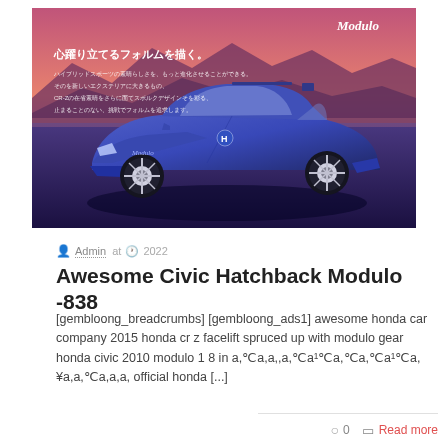[Figure (photo): Honda CR-Z Modulo facelift in dark blue/purple color, photographed at sunset with pink sky and mountains in background. Japanese text overlay on left side reading 心躍り立てるフォルムを描く。 with smaller body text below. Modulo logo in top right corner.]
Admin at  2022
Awesome Civic Hatchback Modulo -838
[gembloong_breadcrumbs] [gembloong_ads1] awesome honda car company 2015 honda cr z facelift spruced up with modulo gear honda civic 2010 modulo 1 8 in a,℃a,a,,a,℃a¹℃a,℃a,℃a¹℃a,¥a,a,℃a,a,a, official honda [...]
0   Read more